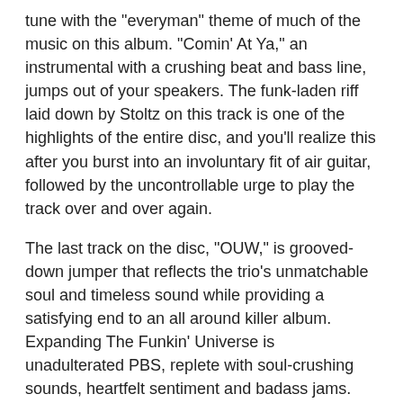tune with the "everyman" theme of much of the music on this album. "Comin' At Ya," an instrumental with a crushing beat and bass line, jumps out of your speakers. The funk-laden riff laid down by Stoltz on this track is one of the highlights of the entire disc, and you'll realize this after you burst into an involuntary fit of air guitar, followed by the uncontrollable urge to play the track over and over again.
The last track on the disc, "OUW," is grooved-down jumper that reflects the trio's unmatchable soul and timeless sound while providing a satisfying end to an all around killer album. Expanding The Funkin' Universe is unadulterated PBS, replete with soul-crushing sounds, heartfelt sentiment and badass jams. Damn, I gotta catch these cats live....
-- Mike Gibson